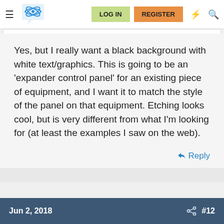[Figure (screenshot): Forum navigation bar with hamburger menu, atom/brain logo, LOG IN button (green), REGISTER button (orange), lightning bolt icon, and search icon]
Yes, but I really want a black background with white text/graphics. This is going to be an 'expander control panel' for an existing piece of equipment, and I want it to match the style of the panel on that equipment. Etching looks cool, but is very different from what I'm looking for (at least the examples I saw on the web).
Reply
Jun 2, 2018   #12